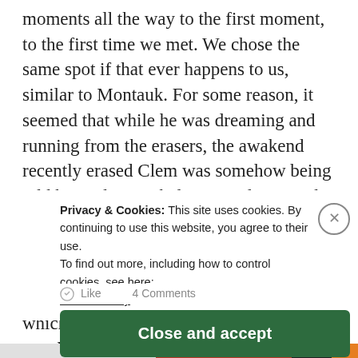moments all the way to the first moment, to the first time we met. We chose the same spot if that ever happens to us, similar to Montauk. For some reason, it seemed that while he was dreaming and running from the erasers, the awakend recently erased Clem was somehow being told by Joel not to believe in Elija Wood character lies through some kind of telepathy. If not, how is it that they met in the train that exact day? At the end this question is left to open interpretation, which makes the movie excellent for watching it again every 5 years or so with your partner.
Privacy & Cookies: This site uses cookies. By continuing to use this website, you agree to their use.
To find out more, including how to control cookies, see here: Cookie Policy
Close and accept